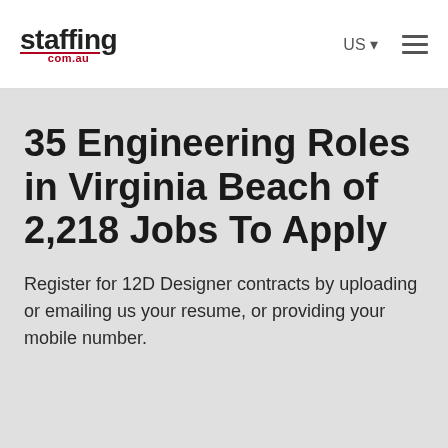staffing.com.au — US — menu
35 Engineering Roles in Virginia Beach of 2,218 Jobs To Apply
Register for 12D Designer contracts by uploading or emailing us your resume, or providing your mobile number.